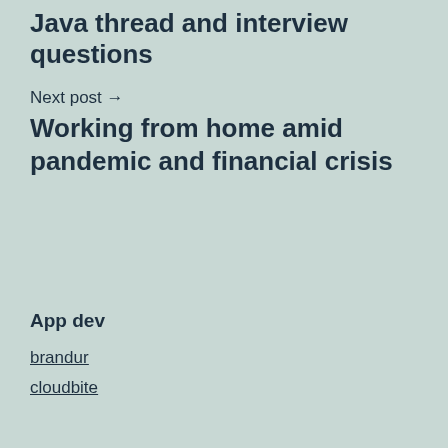Java thread and interview questions
Next post →
Working from home amid pandemic and financial crisis
App dev
brandur
cloudbite